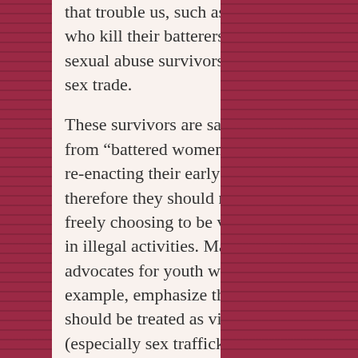that trouble us, such as abuse victims who kill their batterers, or childhood sexual abuse survivors who engage in sex trade.
These survivors are said to be suffering from “battered women’s syndrome” or re-enacting their early abuse, and therefore they should not be viewed as freely choosing to be violent or engage in illegal activities. Many self-professed advocates for youth who trade sex, for example, emphasize that the youth should be treated as victims of crime (especially sex trafficking) because they are incapable of making a choice to engage in sex trade, both because of age of